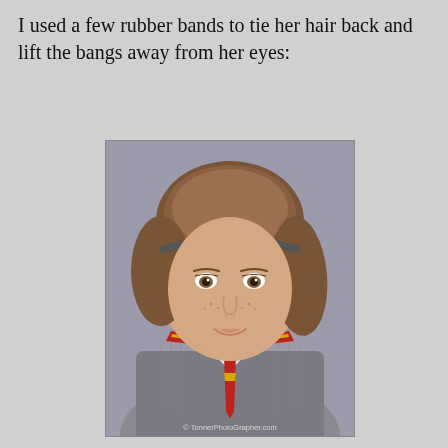I used a few rubber bands to tie her hair back and lift the bangs away from her eyes:
[Figure (photo): Close-up photo of a Hermione Granger doll with brown hair tied back, wearing a gray Hogwarts sweater with red and yellow striped collar, white shirt and red tie. The doll has freckles and a slight smile. Watermark reads '© TonnerPhotoGrapher.com' at the bottom.]